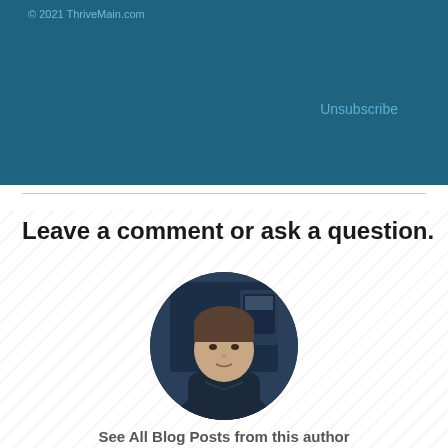© 2021 ThriveMain.com
Unsubscribe
Leave a comment or ask a question.
[Figure (photo): Circular portrait photo of a man in a dark jacket, with a technology/studio background]
See All Blog Posts from this author